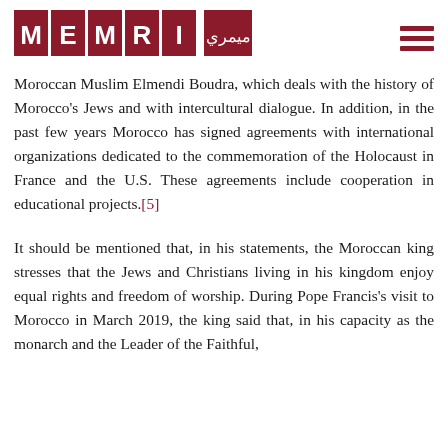MEMRI
Moroccan Muslim Elmendi Boudra, which deals with the history of Morocco's Jews and with intercultural dialogue. In addition, in the past few years Morocco has signed agreements with international organizations dedicated to the commemoration of the Holocaust in France and the U.S. These agreements include cooperation in educational projects.[5]
It should be mentioned that, in his statements, the Moroccan king stresses that the Jews and Christians living in his kingdom enjoy equal rights and freedom of worship. During Pope Francis's visit to Morocco in March 2019, the king said that, in his capacity as the monarch and the Leader of the Faithful,